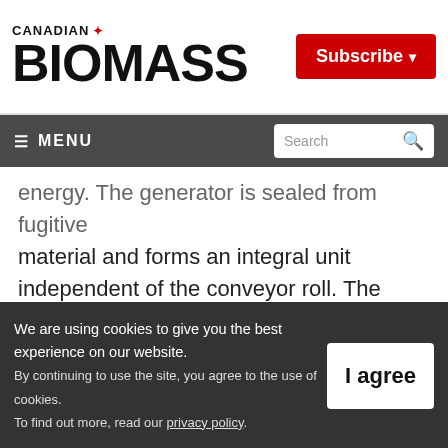CANADIAN BIOMASS | Subscribe
≡ MENU | Search
energy. The generator is sealed from fugitive material and forms an integral unit independent of the conveyor roll. The bearings of the generator are able to handle the conveyor belt load, as they are of similar size to the roller.
We are using cookies to give you the best experience on our website. By continuing to use the site, you agree to the use of cookies. To find out more, read our privacy policy.